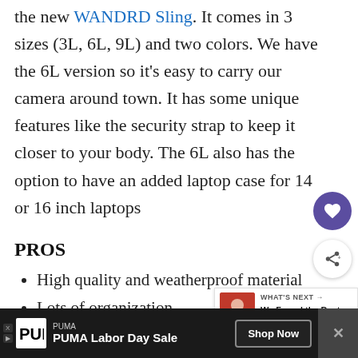the new WANDRD Sling. It comes in 3 sizes (3L, 6L, 9L) and two colors. We have the 6L version so it's easy to carry our camera around town. It has some unique features like the security strap to keep it closer to your body. The 6L also has the option to have an added laptop case for 14 or 16 inch laptops
PROS
High quality and weatherproof material
Lots of organization
Wear it three ways
An optional security strap keeps it closer to your